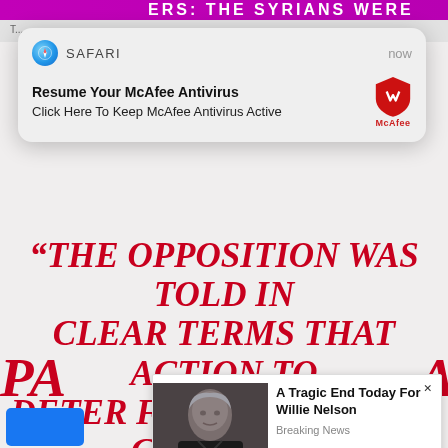[Figure (screenshot): Screenshot of a mobile browser page showing a news article about Syrian opposition being told action could come to deter chemical weapons use by Assad regime, overlaid with a Safari push notification for McAfee Antivirus and a clickbait ad popup about Willie Nelson.]
SAFARI   now
Resume Your McAfee Antivirus
Click Here To Keep McAfee Antivirus Active
"THE OPPOSITION WAS TOLD IN CLEAR TERMS THAT ACTION TO DETER FURTHER USE OF CHEMICAL WEAPONS BY THE ASSAD REGIME COULD COME AS EARLY AS IN THE NEXT FEW DAYS," A SYRIAN PARTICIPANT IN THE MEETING SAID. ANOTHER SYRIAN
A Tragic End Today For Willie Nelson
Breaking News